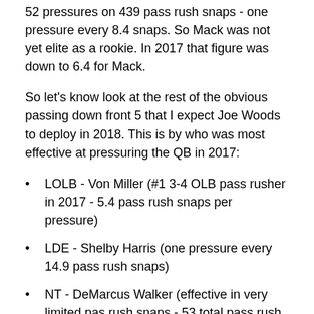52 pressures on 439 pass rush snaps - one pressure every 8.4 snaps. So Mack was not yet elite as a rookie. In 2017 that figure was down to 6.4 for Mack.
So let's know look at the rest of the obvious passing down front 5 that I expect Joe Woods to deploy in 2018. This is by who was most effective at pressuring the QB in 2017:
LOLB - Von Miller (#1 3-4 OLB pass rusher in 2017 - 5.4 pass rush snaps per pressure)
LDE - Shelby Harris (one pressure every 14.9 pass rush snaps)
NT - DeMarcus Walker (effective in very limited pas rush snaps - 53 total pass rush snaps with 9 pressures - 5.9 pass rush snaps per pressure)